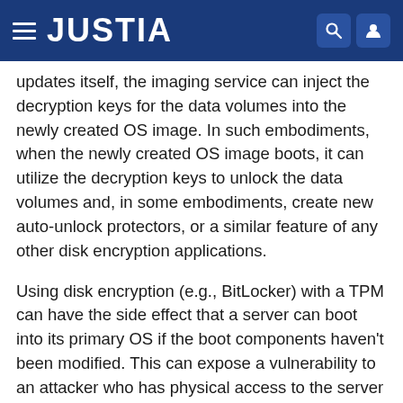JUSTIA
updates itself, the imaging service can inject the decryption keys for the data volumes into the newly created OS image. In such embodiments, when the newly created OS image boots, it can utilize the decryption keys to unlock the data volumes and, in some embodiments, create new auto-unlock protectors, or a similar feature of any other disk encryption applications.
Using disk encryption (e.g., BitLocker) with a TPM can have the side effect that a server can boot into its primary OS if the boot components haven't been modified. This can expose a vulnerability to an attacker who has physical access to the server because such an attacker can have an infinite amount of time to find a vulnerability of the running OS after gaining physical possession of the server.